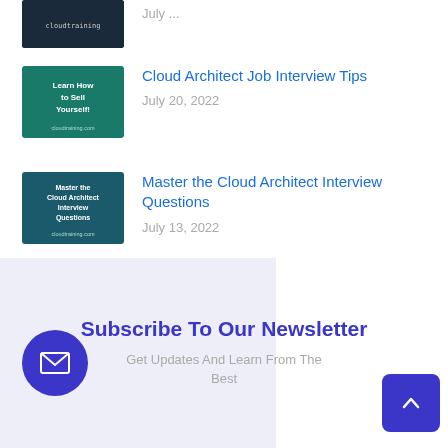[Figure (screenshot): Thumbnail image (partially visible at top) with dark background and text]
July ...
[Figure (screenshot): Thumbnail image with teal/green background and white text: Learn How to Sell Yourself!]
Cloud Architect Job Interview Tips
July 20, 2022
[Figure (screenshot): Thumbnail image with dark teal background and white text: Master the Cloud Architect Interview Questions]
Master the Cloud Architect Interview Questions
July 13, 2022
Subscribe To Our Newsletter
Get Updates And Learn From The Best